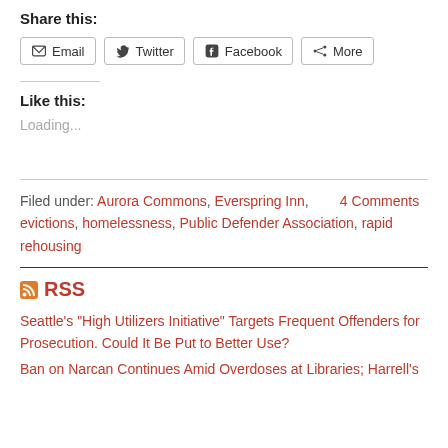Share this:
Email | Twitter | Facebook | More
Like this:
Loading...
Filed under: Aurora Commons, Everspring Inn, evictions, homelessness, Public Defender Association, rapid rehousing   4 Comments
RSS
Seattle’s “High Utilizers Initiative” Targets Frequent Offenders for Prosecution. Could It Be Put to Better Use?
Ban on Narcan Continues Amid Overdoses at Libraries; Harrell’s